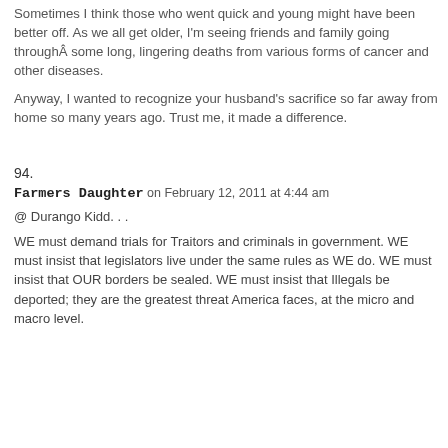Sometimes I think those who went quick and young might have been better off. As we all get older, I'm seeing friends and family going throughÂ some long, lingering deaths from various forms of cancer and other diseases.
Anyway, I wanted to recognize your husband's sacrifice so far away from home so many years ago. Trust me, it made a difference.
94.
Farmers Daughter on February 12, 2011 at 4:44 am
@ Durango Kidd. . .
WE must demand trials for Traitors and criminals in government. WE must insist that legislators live under the same rules as WE do. WE must insist that OUR borders be sealed. WE must insist that Illegals be deported; they are the greatest threat America faces, at the micro and macro level.